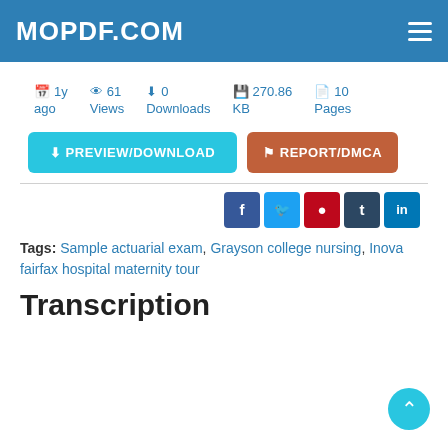MOPDF.COM
1y ago   61 Views   0 Downloads   270.86 KB   10 Pages
PREVIEW/DOWNLOAD   REPORT/DMCA
Social share: Facebook, Twitter, Pinterest, Tumblr, LinkedIn
Tags: Sample actuarial exam, Grayson college nursing, Inova fairfax hospital maternity tour
Transcription